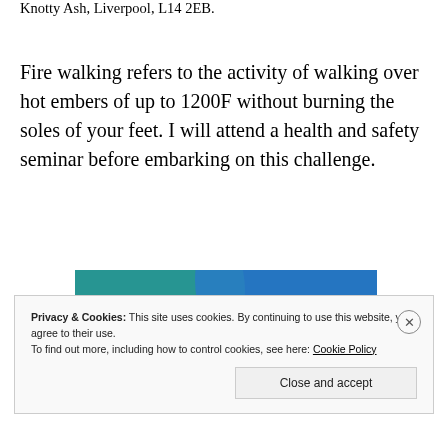Knotty Ash, Liverpool, L14 2EB.
Fire walking refers to the activity of walking over hot embers of up to 1200F without burning the soles of your feet. I will attend a health and safety seminar before embarking on this challenge.
[Figure (photo): Colorful abstract/promotional image with teal, blue, and pink shapes, partially visible behind cookie consent banner]
Privacy & Cookies: This site uses cookies. By continuing to use this website, you agree to their use.
To find out more, including how to control cookies, see here: Cookie Policy
Close and accept